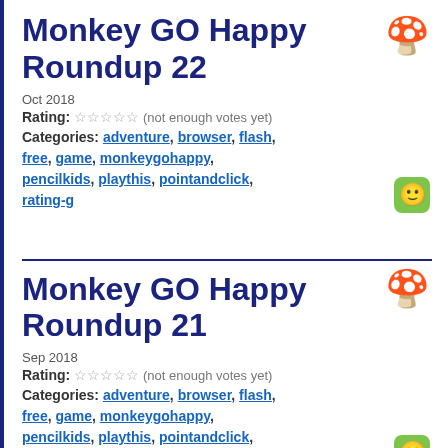Monkey GO Happy Roundup 22
Oct 2018
Rating: ☆☆☆☆☆ (not enough votes yet)
Categories: adventure, browser, flash, free, game, monkeygohappy, pencilkids, playthis, pointandclick, rating-g
Monkey GO Happy Roundup 21
Sep 2018
Rating: ☆☆☆☆☆ (not enough votes yet)
Categories: adventure, browser, flash, free, game, monkeygohappy, pencilkids, playthis, pointandclick, rating-g